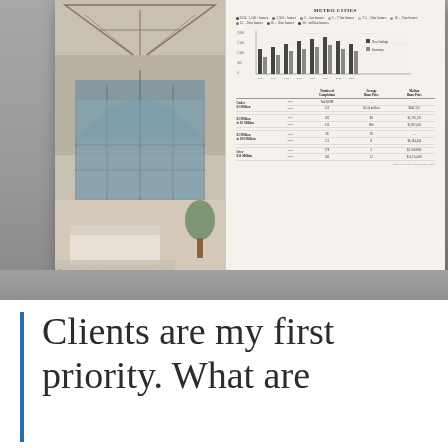[Figure (photo): Photo of an open real estate market report booklet. The left page shows a luxury interior with large arched windows and a conservatory-style space. The right page shows real estate market data with a bar chart and a statistical table.]
Clients are my first priority. What are